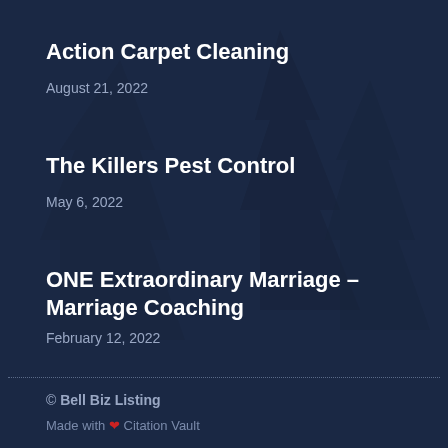Action Carpet Cleaning
August 21, 2022
The Killers Pest Control
May 6, 2022
ONE Extraordinary Marriage – Marriage Coaching
February 12, 2022
© Bell Biz Listing
Made with ❤ Citation Vault